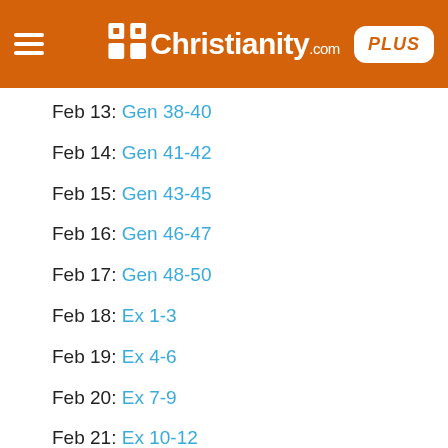Christianity.com PLUS
Feb 13: Gen 38-40
Feb 14: Gen 41-42
Feb 15: Gen 43-45
Feb 16: Gen 46-47
Feb 17: Gen 48-50
Feb 18: Ex 1-3
Feb 19: Ex 4-6
Feb 20: Ex 7-9
Feb 21: Ex 10-12
Feb 22: Ex 13-15
Feb 23: Ex 16-18
Feb 24: Ex 19-21
Feb 25: Ex 22-24